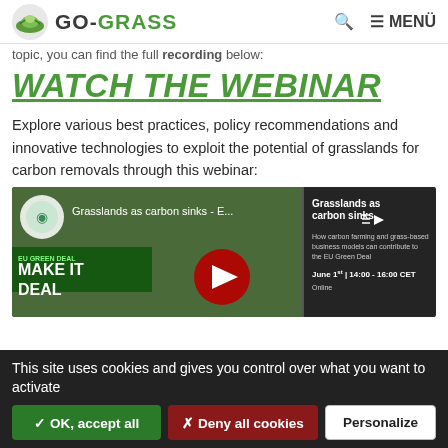GO-GRASS  Q  ≡ MENÜ
topic, you can find the full recording below:
WATCH THE WEBINAR
Explore various best practices, policy recommendations and innovative technologies to exploit the potential of grasslands for carbon removals through this webinar:
[Figure (screenshot): YouTube video thumbnail for 'Grasslands as carbon sinks - E...' showing a woman's face, EU Green Deal Make It Real branding, and event details: Grasslands as carbon sinks, How carbon farming and grass-based business models can contribute to the EU Green Deal, June 1st | 14:00 - 16:00 CET, Online]
This site uses cookies and gives you control over what you want to activate
✓ OK, accept all  ✗ Deny all cookies  Personalize